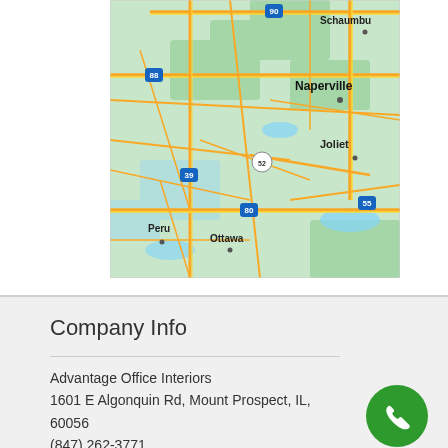[Figure (map): Road map showing the Chicago suburban area including Schaumburg, Naperville, Joliet, Peru, and Ottawa in Illinois, with highways I-90, I-88, I-39, I-55, I-80, and US-52 marked.]
Company Info
Advantage Office Interiors
1601 E Algonquin Rd, Mount Prospect, IL, 60056
(847) 262-3771